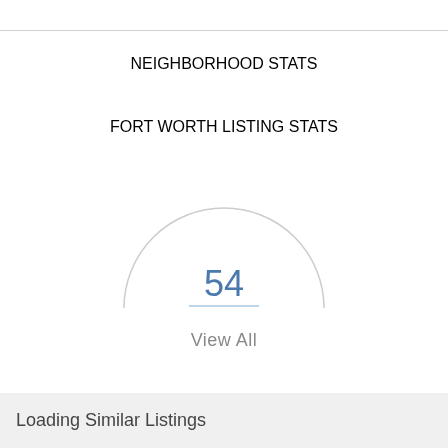NEIGHBORHOOD STATS
FORT WORTH LISTING STATS
[Figure (other): Semi-circle gauge/dial graphic with the number 54 displayed in the center]
54
View All
Loading Similar Listings